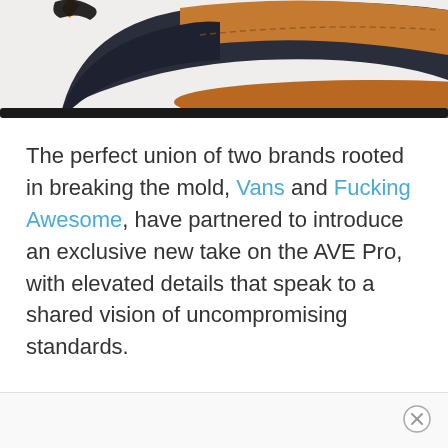[Figure (photo): Partial view of a shoe, showing the sole and upper portion with brown/tan leather and dark navy/black material, with an orange lace tip visible at the top left.]
The perfect union of two brands rooted in breaking the mold, Vans and Fucking Awesome, have partnered to introduce an exclusive new take on the AVE Pro, with elevated details that speak to a shared vision of uncompromising standards.
[Figure (other): Advertisement close button (X in circle) in the bottom-right of a white ad bar at the bottom of the page.]